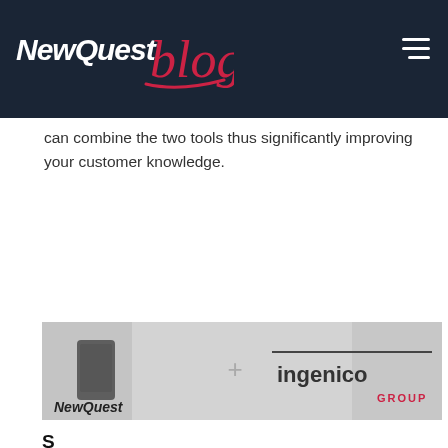NewQuest blog
can combine the two tools thus significantly improving your customer knowledge.
[Figure (photo): Photo of a person holding a smartphone with NewQuest and Ingenico Group logos overlaid on the image, showing a partnership between the two companies.]
S...